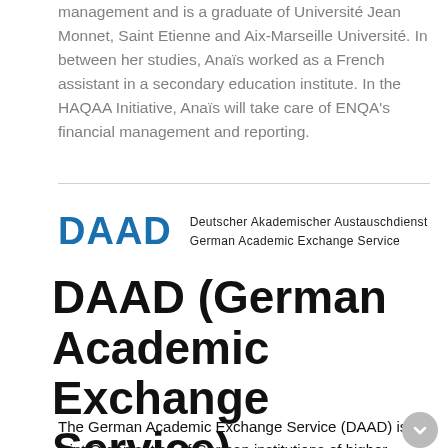management and is a graduate of Université Jean Monnet, Saint Etienne and Aix-Marseille Université. In between her studies, Anaïs worked as a French assistant in a secondary education institute. In the HAQAA Initiative, Anaïs will take care of ENQA's financial management and reporting.
[Figure (logo): DAAD logo with blue bold 'DAAD' text and tagline 'Deutscher Akademischer Austauschdienst / German Academic Exchange Service']
DAAD (German Academic Exchange Service)
The German Academic Exchange Service (DAAD) is a joint Organisation of German institutions of higher education and their student bodies, devoted to internationalising the academic